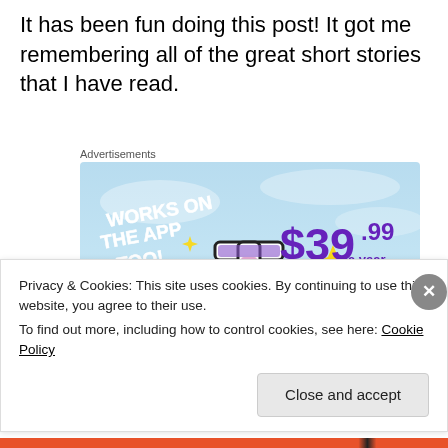It has been fun doing this post! It got me remembering all of the great short stories that I have read.
[Figure (illustration): Advertisement banner for Tumblr showing the Tumblr 't' logo with sparkles on a light blue sky background. Text reads: 'WORKS ON THE APP TOO!' and pricing '$39.99 a year or $4.99 a month + FREE SHIPPING']
Privacy & Cookies: This site uses cookies. By continuing to use this website, you agree to their use.
To find out more, including how to control cookies, see here: Cookie Policy